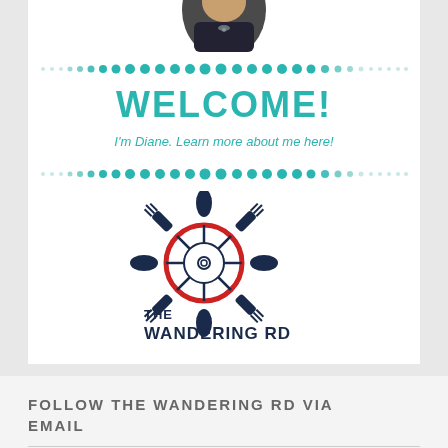[Figure (photo): Cropped circular portrait photo of a woman (Diane) wearing a dark jacket and necklace, showing only the lower portion of the face/shoulders]
WELCOME!
I'm Diane. Learn more about me here!
[Figure (logo): The Wandering RD logo: a ship's wheel made of forks and spoons in dark navy blue with a red circle, and the text 'THE WANDERING RD' below in dark navy bold letters]
FOLLOW THE WANDERING RD VIA EMAIL